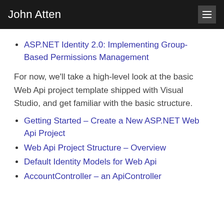John Atten
ASP.NET Identity 2.0: Implementing Group-Based Permissions Management
For now, we'll take a high-level look at the basic Web Api project template shipped with Visual Studio, and get familiar with the basic structure.
Getting Started – Create a New ASP.NET Web Api Project
Web Api Project Structure – Overview
Default Identity Models for Web Api
AccountController – an ApiController